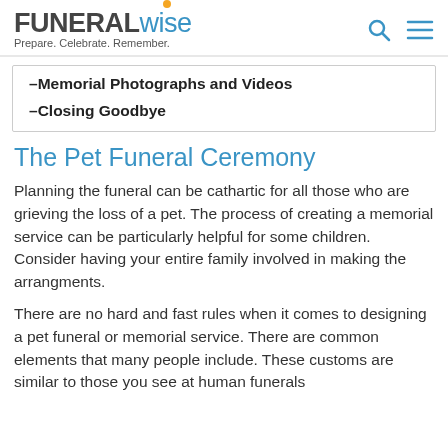FUNERAL wise — Prepare. Celebrate. Remember.
–Memorial Photographs and Videos
–Closing Goodbye
The Pet Funeral Ceremony
Planning the funeral can be cathartic for all those who are grieving the loss of a pet. The process of creating a memorial service can be particularly helpful for some children. Consider having your entire family involved in making the arrangments.
There are no hard and fast rules when it comes to designing a pet funeral or memorial service. There are common elements that many people include. These customs are similar to those you see at human funerals but are typically simpler. Of course, it's not...